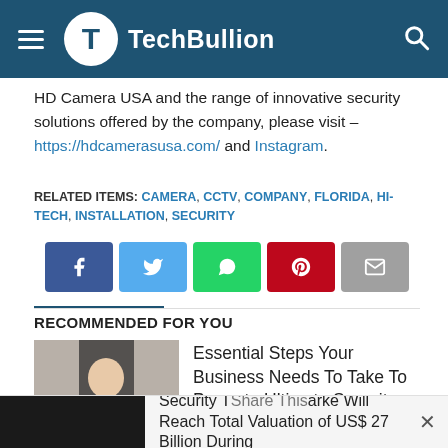TechBullion
HD Camera USA and the range of innovative security solutions offered by the company, please visit – https://hdcamerasusa.com/ and Instagram.
RELATED ITEMS: CAMERA, CCTV, COMPANY, FLORIDA, HI-TECH, INSTALLATION, SECURITY
[Figure (other): Social sharing buttons: Facebook, Twitter, WhatsApp, Pinterest, Email]
RECOMMENDED FOR YOU
[Figure (photo): Woman in black top holding a white ID badge/card]
Essential Steps Your Business Needs To Take To Promote Ultimate Security
[Figure (photo): Dark thumbnail image for second article]
Security Tech Market Will Reach Total Valuation of US$ 27 Billion During
Share This